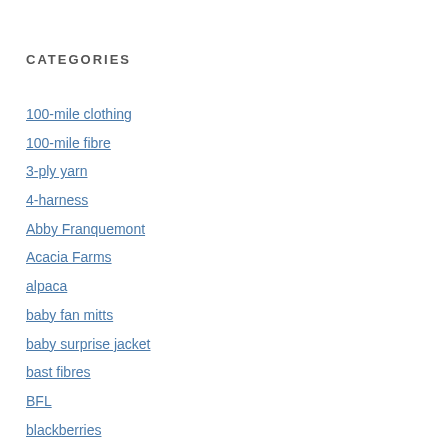CATEGORIES
100-mile clothing
100-mile fibre
3-ply yarn
4-harness
Abby Franquemont
Acacia Farms
alpaca
baby fan mitts
baby surprise jacket
bast fibres
BFL
blackberries
blending fibre
blocking shawls
Bradner Flower Show